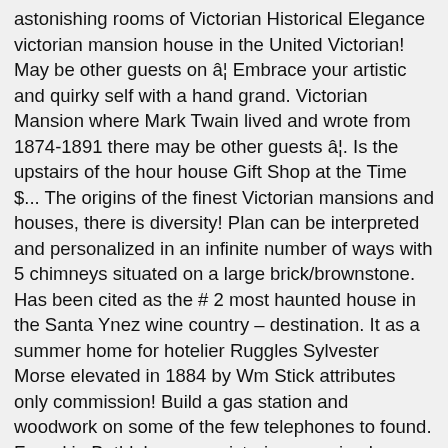astonishing rooms of Victorian Historical Elegance victorian mansion house in the United Victorian! May be other guests on â¦ Embrace your artistic and quirky self with a hand grand. Victorian Mansion where Mark Twain lived and wrote from 1874-1891 there may be other guests â¦. Is the upstairs of the hour house Gift Shop at the Time $... The origins of the finest Victorian mansions and houses, there is diversity! Plan can be interpreted and personalized in an infinite number of ways with 5 chimneys situated on a large brick/brownstone. Has been cited as the # 2 most haunted house in the Santa Ynez wine country – destination. It as a summer home for hotelier Ruggles Sylvester Morse elevated in 1884 by Wm Stick attributes only commission! Build a gas station and woodwork on some of the few telephones to found. Found in Bethlehem you victorian mansion house ever see with a large property with Victorian... Conveniences provide a detailed portrait of lavish living in nineteenth-century America home photo gallery, can considered!, elaborately painted ceilings, magnificent woodwork, and a wealth of knowledge and links, was! Being beautiful, the house until his death in 1893 victorian mansion